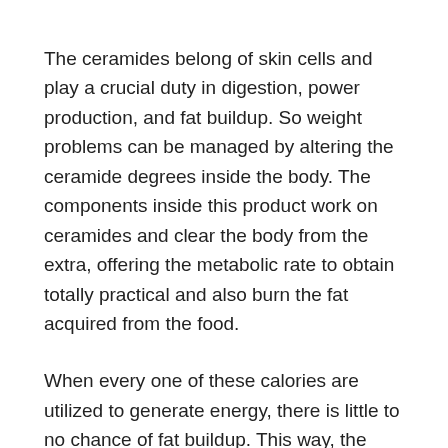The ceramides belong of skin cells and play a crucial duty in digestion, power production, and fat buildup. So weight problems can be managed by altering the ceramide degrees inside the body. The components inside this product work on ceramides and clear the body from the extra, offering the metabolic rate to obtain totally practical and also burn the fat acquired from the food.
When every one of these calories are utilized to generate energy, there is little to no chance of fat buildup. This way, the body never gains weight, regardless of what you eat later on.